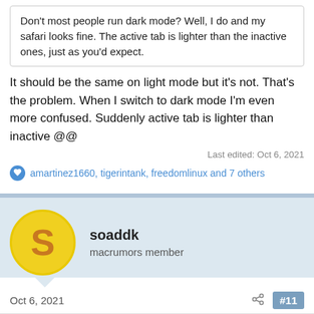Don't most people run dark mode? Well, I do and my safari looks fine. The active tab is lighter than the inactive ones, just as you'd expect.
It should be the same on light mode but it's not. That's the problem. When I switch to dark mode I'm even more confused. Suddenly active tab is lighter than inactive @@
Last edited: Oct 6, 2021
amartinez1660, tigerintank, freedomlinux and 7 others
soaddk
macrumors member
Oct 6, 2021
#11
SilverWalker said:
Not if the background of the page is dark.